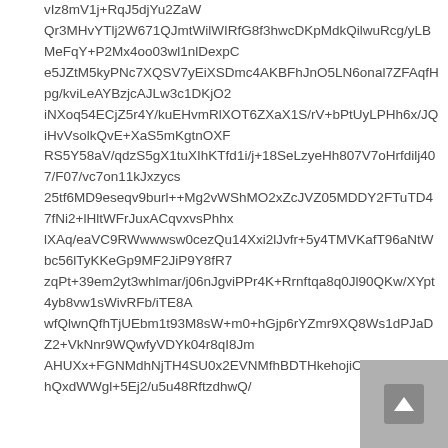vIz8mV1j+RqJ5djYu2ZaW
Qr3MHvYTlj2W671QJmtWilWIRfG8f3hwcDKpMdkQilwuRcg/yLBMeFqY+P2Mx4oo03wl1nlDexpC
e5JZtM5kyPNc7XQSV7yEiXSDmc4AKBFhJnO5LN6onal7ZFAqfHpg/kviLeAYBzjcAJLw3c1DKjO2
iNXoq54ECjZ5r4Y/kuEHvmRlXOT6ZXaX1S/rV+bPtUyLPHh6x/JQiHvVsolkQvE+XaS5mKgtnOXF
RS5Y58aV/qdzS5gX1tuXIhKTfd1i/j+18SeLzyeHh807V7oHrfdilj407/F07/vc7on11kJxzycs
25tf6MD9eseqv9burl++Mg2vWShMO2xZcJVZ05MDDY2FTuTD47fNi2+lHltWFrJuxACqvxvsPhhx
lXAq/eaVC9RWwwwsw0cezQu14Xxi2lJvfr+5y4TMVKafT96aNtWbc56lTyKKeGp9MF2JiP9Y8fR7
zqPt+39em2yt3whlmar/j06nJgviPPr4K+Rrnftqa8q0Jl90QKw/XYpt4yb8vw1sWivRFb/iTE8A
wfQlwnQfhTjUEbm1t93M8sW+m0+hGjp6rYZmr9XQ8Ws1dPJaDZ2+VkNnr9WQwfyVDYk04r8qI8Jm
AHUXx+FGNMdhNjTH4SU0x2EVNMfhBDTHkehojiOP0RxHm;4
hQxdWWgl+5Ej2/u5u48RftzdhwQ/